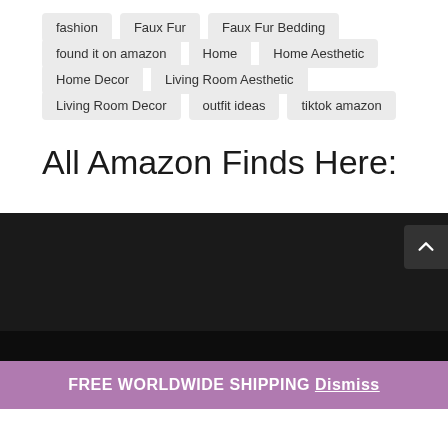fashion
Faux Fur
Faux Fur Bedding
found it on amazon
Home
Home Aesthetic
Home Decor
Living Room Aesthetic
Living Room Decor
outfit ideas
tiktok amazon
All Amazon Finds Here:
FREE WORLDWIDE SHIPPING Dismiss